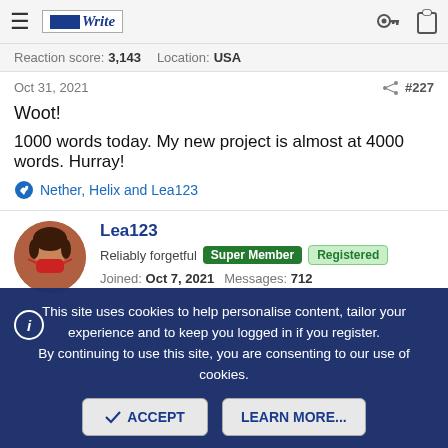BoldlyWrite — navigation bar with hamburger menu, logo, key icon, clipboard icon
Reaction Score: 3,143   Location: USA
Oct 31, 2021   #227
Woot!
1000 words today. My new project is almost at 4000 words. Hurray!
Nether, Helix and Lea123
Lea123
Reliably forgetful  Super Member  Registered
Joined: Oct 7, 2021   Messages: 712
This site uses cookies to help personalise content, tailor your experience and to keep you logged in if you register. By continuing to use this site, you are consenting to our use of cookies.
ACCEPT   LEARN MORE...